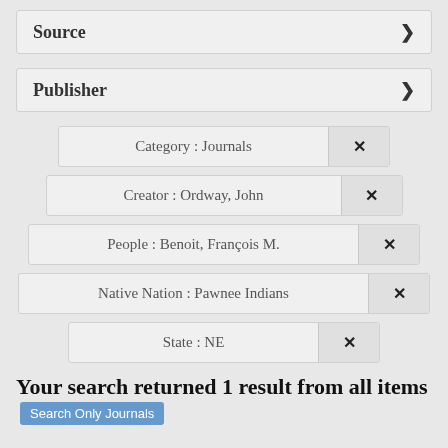Source >
Publisher >
Category : Journals ×
Creator : Ordway, John ×
People : Benoit, François M. ×
Native Nation : Pawnee Indians ×
State : NE ×
Your search returned 1 result from all items Search Only Journals